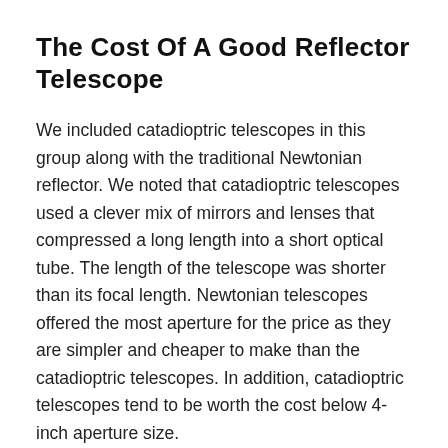The Cost Of A Good Reflector Telescope
We included catadioptric telescopes in this group along with the traditional Newtonian reflector. We noted that catadioptric telescopes used a clever mix of mirrors and lenses that compressed a long length into a short optical tube. The length of the telescope was shorter than its focal length. Newtonian telescopes offered the most aperture for the price as they are simpler and cheaper to make than the catadioptric telescopes. In addition, catadioptric telescopes tend to be worth the cost below 4-inch aperture size.
More of a budget? You’ll move from a small Maksutov-Cassegrain to the higher Schmidt-Cassegrain. You can go for the Celestron NexStar 6SE and NexStar